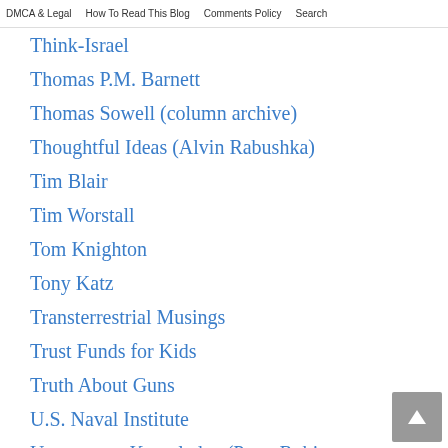DMCA & Legal   How To Read This Blog   Comments Policy   Search
Think-Israel
Thomas P.M. Barnett
Thomas Sowell (column archive)
Thoughtful Ideas (Alvin Rabushka)
Tim Blair
Tim Worstall
Tom Knighton
Tony Katz
Transterrestrial Musings
Trust Funds for Kids
Truth About Guns
U.S. Naval Institute
Uncommon Knowledge (Peter Robinson